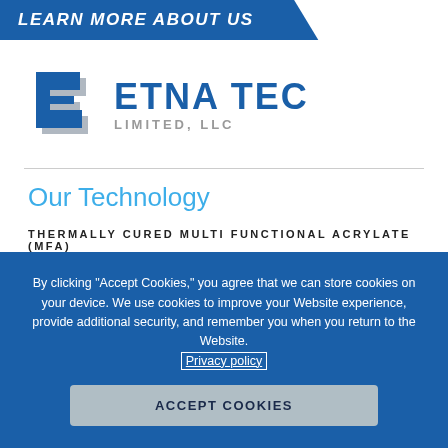LEARN MORE ABOUT US
[Figure (logo): Etna Tec Limited, LLC logo with stylized blue and gray E icon]
Our Technology
THERMALLY CURED MULTI FUNCTIONAL ACRYLATE (MFA)
By clicking "Accept Cookies," you agree that we can store cookies on your device. We use cookies to improve your Website experience, provide additional security, and remember you when you return to the Website. Privacy policy
ACCEPT COOKIES